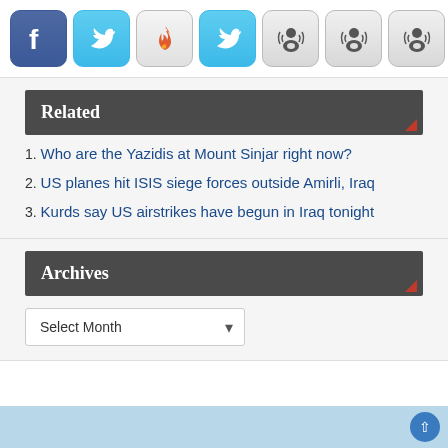[Figure (other): Row of social media icon buttons: Facebook, Twitter, fire/Digg-style, Twitter again, and three podcast/person silhouette icons]
Related
1. Who are the Yazidis at Mount Sinjar right now?
2. US planes hit ISIS siege forces outside Amirli, Iraq
3. Kurds say US airstrikes have begun in Iraq tonight
Archives
Select Month